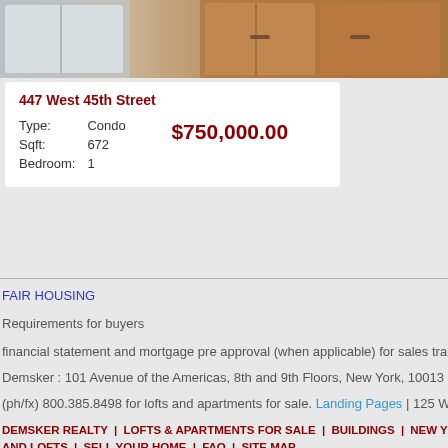[Figure (photo): Kitchen interior photo showing stainless steel appliances and wooden cabinets]
447 West 45th Street
| Type: | Condo |
| Sqft: | 672 |
| Bedroom: | 1 |
$750,000.00
FAIR HOUSING
Requirements for buyers
financial statement and mortgage pre approval (when applicable) for sales transacti
Demsker : 101 Avenue of the Americas, 8th and 9th Floors, New York, 10013
(ph/fx) 800.385.8498 for lofts and apartments for sale. Landing Pages | 125 West 21
DEMSKER REALTY | LOFTS & APARTMENTS FOR SALE | BUILDINGS | NEW YOR AND LOFTS | SELL YOUR HOME | FAQ | SITE MAP